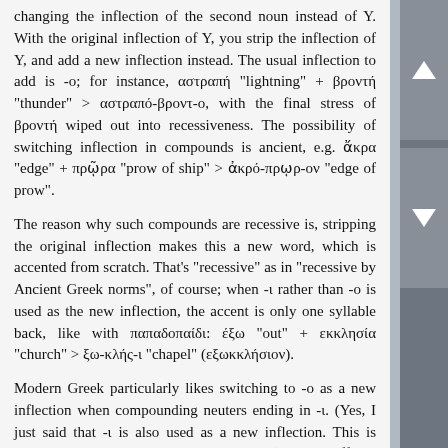changing the inflection of the second noun instead of Y. With the original inflection of Y, you strip the inflection of Y, and add a new inflection instead. The usual inflection to add is -o; for instance, αστραπή "lightning" + βροντή "thunder" > αστραπό-βροντ-ο, with the final stress of βροντή wiped out into recessiveness. The possibility of switching inflection in compounds is ancient, e.g. ἄκρα "edge" + πρῷρα "prow of ship" > ἀκρό-πρῳρ-ον "edge of prow".
The reason why such compounds are recessive is, stripping the original inflection makes this a new word, which is accented from scratch. That's "recessive" as in "recessive by Ancient Greek norms", of course; when -ι rather than -ο is used as the new inflection, the accent is only one syllable back, like with παπαδοπαίδι: έξω "out" + εκκλησία "church" > ξω-κλής-ι "chapel" (εξωκκλήσιον).
Modern Greek particularly likes switching to -ο as a new inflection when compounding neuters ending in -ι. (Yes, I just said that -ι is also used as a new inflection. This is language, don't expect it to be economical.) The -ι suffix is stripped from the noun, and the old neuter inflection -ο brought back in. Then the whole compound is accented recessively. παπαδο-παιδι cannot be accented as *παπαδόπαιδι. But βούτυρο + παιδι "butter boy, weakling" can be compounded as βουτυρο-παιδ-ο, and accented as βουτυρόπαιδο.